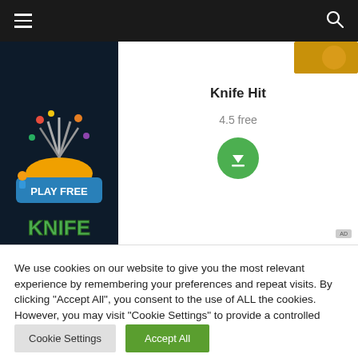[Figure (screenshot): Dark navigation bar with hamburger menu on left and search icon on right]
[Figure (screenshot): Knife Hit game app listing showing game artwork with PLAY FREE button and KNIFE text, app title 'Knife Hit', rating 4.5 free, green download button, and AD badge]
We use cookies on our website to give you the most relevant experience by remembering your preferences and repeat visits. By clicking "Accept All", you consent to the use of ALL the cookies. However, you may visit "Cookie Settings" to provide a controlled consent.
Cookie Settings
Accept All